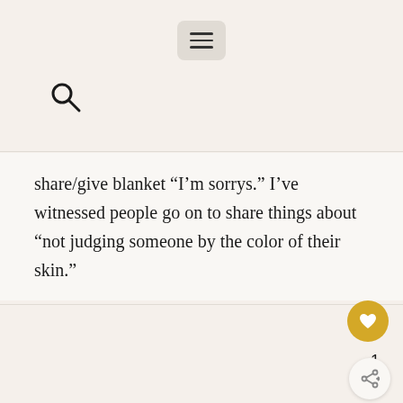[Figure (screenshot): Mobile app navigation bar with hamburger menu button (three horizontal lines) centered at top]
[Figure (screenshot): Search icon (magnifying glass) in the upper left area below the nav bar]
share/give blanket “I’m sorrys.” I’ve witnessed people go on to share things about “not judging someone by the color of their skin.”
[Figure (screenshot): Gold circular like/heart button, like count of 1, and share button at bottom right]